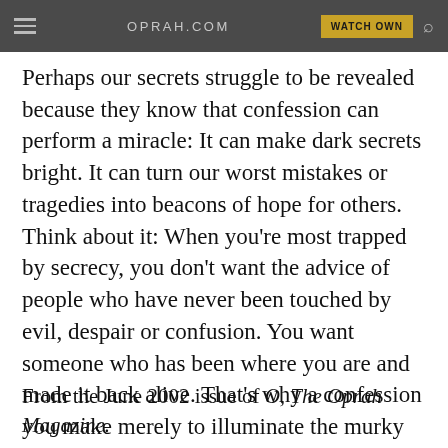OPRAH.COM | WATCH OWN
Perhaps our secrets struggle to be revealed because they know that confession can perform a miracle: It can make dark secrets bright. It can turn our worst mistakes or tragedies into beacons of hope for others. Think about it: When you're most trapped by secrecy, you don't want the advice of people who have never been touched by evil, despair or confusion. You want someone who has been where you are and made it back alive. That's why a confession you make merely to illuminate the murky corners of your little life may end up lighting the path to freedom for a thousand other hearts.
From the June 2002 issue of O, The Oprah Magazine.